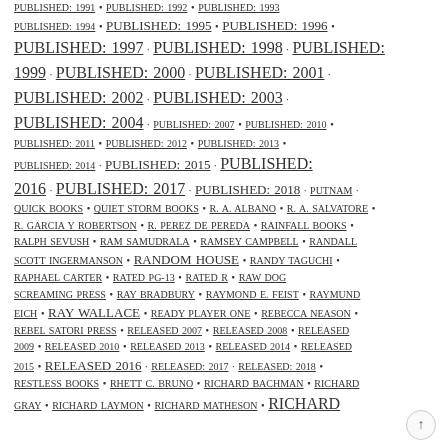PUBLISHED: 1991 • PUBLISHED: 1992 • PUBLISHED: 1993 • PUBLISHED: 1994 • PUBLISHED: 1995 • PUBLISHED: 1996 • PUBLISHED: 1997 · PUBLISHED: 1998 · PUBLISHED: 1999 · PUBLISHED: 2000 · PUBLISHED: 2001 · PUBLISHED: 2002 · PUBLISHED: 2003 · PUBLISHED: 2004 · PUBLISHED: 2007 • PUBLISHED: 2010 • PUBLISHED: 2011 • PUBLISHED: 2012 • PUBLISHED: 2013 • PUBLISHED: 2014 · PUBLISHED: 2015 · PUBLISHED: 2016 · PUBLISHED: 2017 · PUBLISHED: 2018 · PUTNAM · QUICK BOOKS • QUIET STORM BOOKS • R. A. ALBANO • R. A. SALVATORE • R. GARCIA Y ROBERTSON • R. PEREZ DE PEREDA • RAINFALL BOOKS • RALPH SEVUSH • RAM SAMUDRALA • RAMSEY CAMPBELL • RANDALL SCOTT INGERMANSON • RANDOM HOUSE • RANDY TAGUCHI • RAPHAEL CARTER • RATED PG-13 • RATED R • RAW DOG SCREAMING PRESS • RAY BRADBURY • RAYMOND E. FEIST • RAYMUND EICH • RAY WALLACE • READY PLAYER ONE • REBECCA NEASON • REBEL SATORI PRESS • RELEASED 2007 • RELEASED 2008 • RELEASED 2009 • RELEASED 2010 • RELEASED 2013 • RELEASED 2014 • RELEASED 2015 • RELEASED 2016 • RELEASED: 2017 • RELEASED: 2018 • RESTLESS BOOKS • RHETT C. BRUNO • RICHARD BACHMAN • RICHARD GRAY • RICHARD LAYMON • RICHARD MATHESON • RICHARD